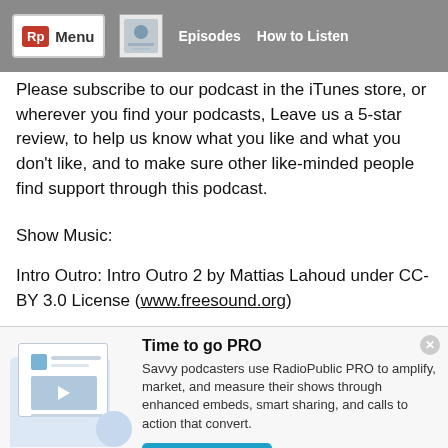Rp Menu | Episodes | How to Listen
Please subscribe to our podcast in the iTunes store, or wherever you find your podcasts, Leave us a 5-star review, to help us know what you like and what you don't like, and to make sure other like-minded people find support through this podcast.
Show Music:
Intro Outro: Intro Outro 2 by Mattias Lahoud under CC-BY 3.0 License (www.freesound.org)
[Figure (screenshot): RadioPublic PRO promotional banner with illustration of podcast app interface, title 'Time to go PRO', description text about RadioPublic PRO features, and a 'Get started' button.]